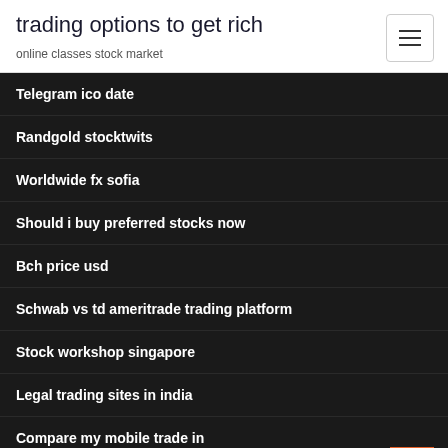trading options to get rich
online classes stock market
Telegram ico date
Randgold stocktwits
Worldwide fx sofia
Should i buy preferred stocks now
Bch price usd
Schwab vs td ameritrade trading platform
Stock workshop singapore
Legal trading sites in india
Compare my mobile trade in
Easy forex broker review